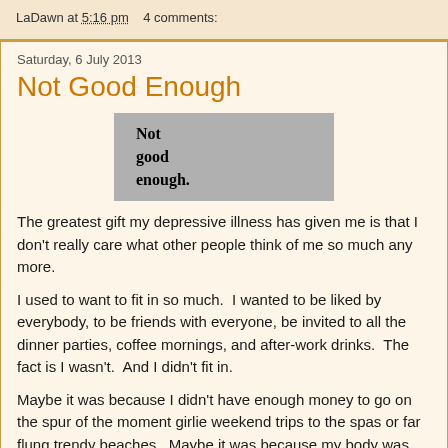LaDawn at 5:16 pm    4 comments:
Saturday, 6 July 2013
Not Good Enough
[Figure (photo): A photograph of text on a page reading 'Not good enough.' in bold serif font on a grey background]
The greatest gift my depressive illness has given me is that I don't really care what other people think of me so much any more.
I used to want to fit in so much.  I wanted to be liked by everybody, to be friends with everyone, be invited to all the dinner parties, coffee mornings, and after-work drinks.  The fact is I wasn't.  And I didn't fit in.
Maybe it was because I didn't have enough money to go on the spur of the moment girlie weekend trips to the spas or far flung trendy beaches.  Maybe it was because my body was